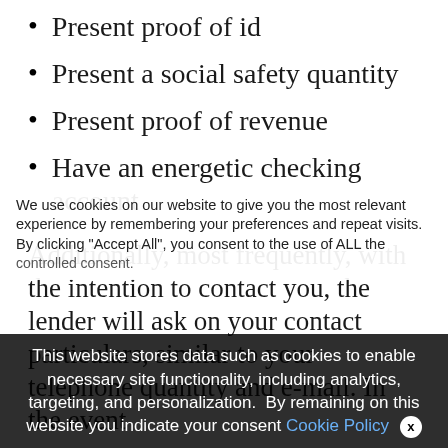Present proof of id
Present a social safety quantity
Present proof of revenue
Have an energetic checking account
Additionally, most frequently, with the intention to contact you, the lender will ask on your contact particulars, similar to your telephone quantity and e-mail. In the event
We use cookies on our website to give you the most relevant experience by remembering your preferences and repeat visits. By clicking “Accept All”, you consent to the use of ALL the
controlled consent.
This website stores data such as cookies to enable necessary site functionality, including analytics, targeting, and personalization. By remaining on this website you indicate your consent Cookie Policy ×